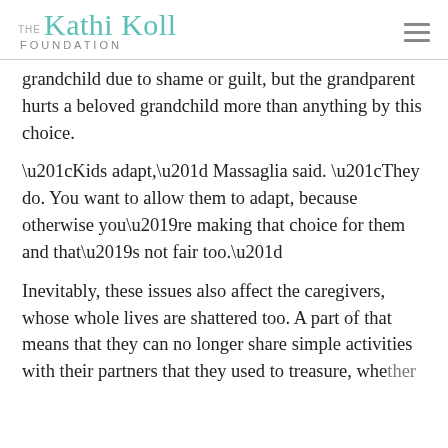THE Kathi Koll FOUNDATION
grandchild due to shame or guilt, but the grandparent hurts a beloved grandchild more than anything by this choice.
“Kids adapt,” Massaglia said. “They do. You want to allow them to adapt, because otherwise you’re making that choice for them and that’s not fair too.”

Inevitably, these issues also affect the caregivers, whose whole lives are shattered too. A part of that means that they can no longer share simple activities with their partners that they used to treasure, whether